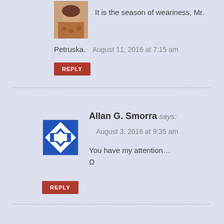[Figure (photo): Profile photo of a woman with dark hair]
It is the season of weariness, Mr.
Petruska.   August 11, 2016 at 7:15 am
REPLY
[Figure (illustration): Blue and white geometric tile pattern avatar]
Allan G. Smorra says:
August 3, 2016 at 9:35 am
You have my attention… Ω
REPLY